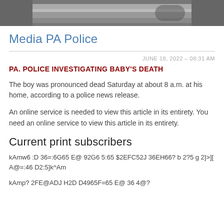[Figure (photo): Partial photo strip at top of page showing a dark vehicle/car scene]
Media PA Police
JUNE 18, 2022 – 08:31 AM
PA. POLICE INVESTIGATING BABY'S DEATH
The boy was pronounced dead Saturday at about 8 a.m. at his home, according to a police news release.
An online service is needed to view this article in its entirety. You need an online service to view this article in its entirety.
Current print subscribers
kAmw6 :D 36=:6G65 E@ 92G6 5:65 $2EFC52J 36EH66? b 2?5 g 2]>][ A@=:46 D2:5]k^Am
kAmp? 2FE@ADJ H2D D4965F=65 E@ 36 4@?